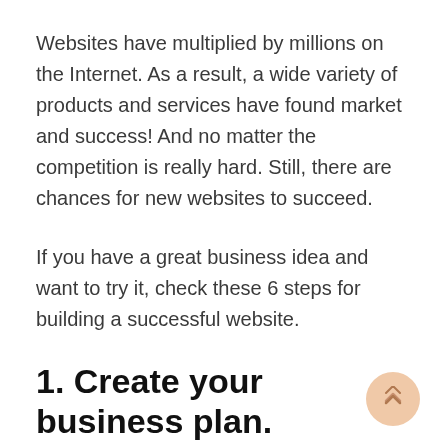Websites have multiplied by millions on the Internet. As a result, a wide variety of products and services have found market and success! And no matter the competition is really hard. Still, there are chances for new websites to succeed.
If you have a great business idea and want to try it, check these 6 steps for building a successful website.
1. Create your business plan.
Have you heard that a goal without a plan is just a wish? That's the truth. Define a clear strategy for building, running, and growing your business website.